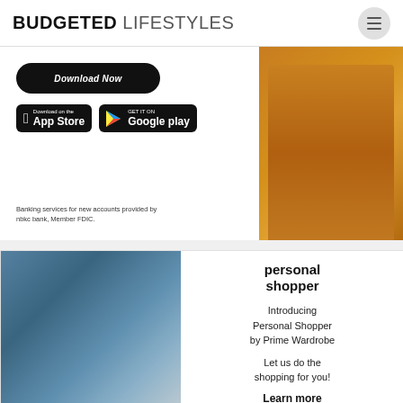BUDGETED LIFESTYLES
[Figure (screenshot): Advertisement banner with Download Now button, App Store and Google Play badges, and text 'Banking services for new accounts provided by nbkc bank, Member FDIC.' Right side shows orange trousers/pants.]
[Figure (screenshot): Advertisement for Personal Shopper by Prime Wardrobe. Left side shows clothing photo with blue jacket on hanger and accessories. Right side shows text: 'personal shopper', 'Introducing Personal Shopper by Prime Wardrobe', 'Let us do the shopping for you!', 'Learn more']